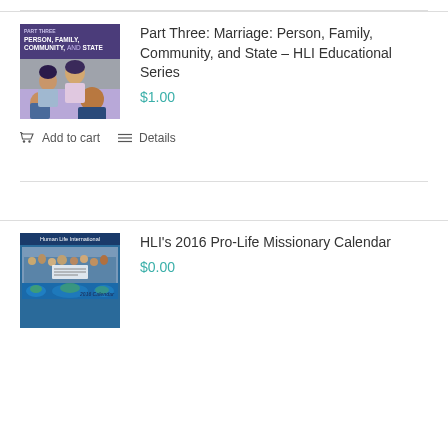[Figure (illustration): Book cover: Part Three Marriage Person Family Community and State HLI Educational Series, purple cover with family photo]
Part Three: Marriage: Person, Family, Community, and State – HLI Educational Series
$1.00
Add to cart
Details
[Figure (illustration): Book cover: HLI 2016 Pro-Life Missionary Calendar, blue cover with group photo and globe]
HLI's 2016 Pro-Life Missionary Calendar
$0.00